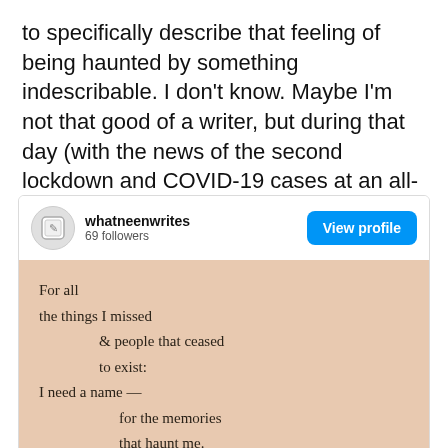to specifically describe that feeling of being haunted by something indescribable. I don't know. Maybe I'm not that good of a writer, but during that day (with the news of the second lockdown and COVID-19 cases at an all-time high), I've never felt so wordless, powerless.
[Figure (screenshot): Instagram profile embed for 'whatneenwrites' with 69 followers and a 'View profile' button, showing a poem on a peach/tan background. Poem lines: 'For all / the things I missed / & people that ceased / to exist: / I need a name — / for the memories / that haunt me. / I need a word — / for the feelings / ...']